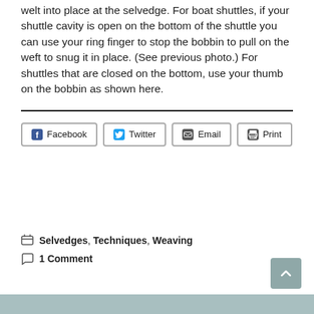welt into place at the selvedge. For boat shuttles, if your shuttle cavity is open on the bottom of the shuttle you can use your ring finger to stop the bobbin to pull on the weft to snug it in place. (See previous photo.) For shuttles that are closed on the bottom, use your thumb on the bobbin as shown here.
Facebook  Twitter  Email  Print
Selvedges, Techniques, Weaving
1 Comment